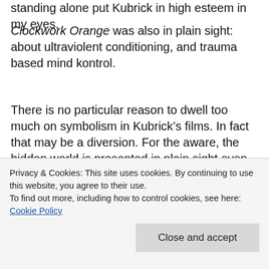standing alone put Kubrick in high esteem in my eyes.
Clockwork Orange was also in plain sight: about ultraviolent conditioning, and trauma based mind kontrol.
There is no particular reason to dwell too much on symbolism in Kubrick’s films. In fact that may be a diversion. For the aware, the hidden world is presented in plain sight even with all the harder to decipher esoteric elements thrown in.
Eyes Wide Shut could just as easily be a dead ringer for
Privacy & Cookies: This site uses cookies. By continuing to use this website, you agree to their use.
To find out more, including how to control cookies, see here: Cookie Policy
Kubrick’s revelations in Eyes Wide Shut start to make